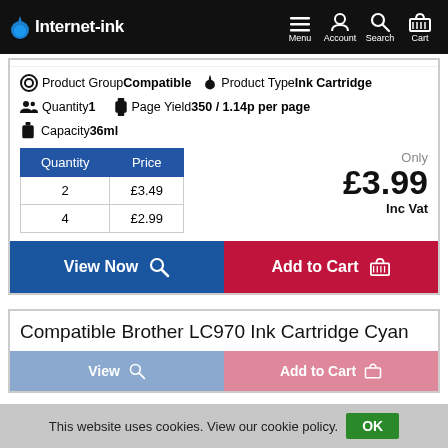Internet-ink | Menu | Account | Search | Cart
Product Group Compatible  Product Type Ink Cartridge
Quantity 1  Page Yield 350 / 1.14p per page
Capacity 36ml
| Quantity | Price |
| --- | --- |
| 2 | £3.49 |
| 4 | £2.99 |
Only £3.99 Inc Vat
View Now
Add to Cart
Compatible Brother LC970 Ink Cartridge Cyan
View
Add to Cart
This website uses cookies. View our cookie policy.